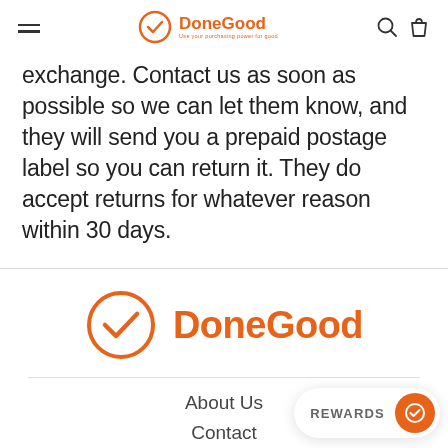DoneGood — Use your purchasing power for good
exchange. Contact us as soon as possible so we can let them know, and they will send you a prepaid postage label so you can return it. They do accept returns for whatever reason within 30 days.
[Figure (logo): DoneGood logo: orange circle with checkmark and bold orange DoneGood text]
About Us
Contact
[Figure (other): Rewards button with orange circle and checkmark icon]